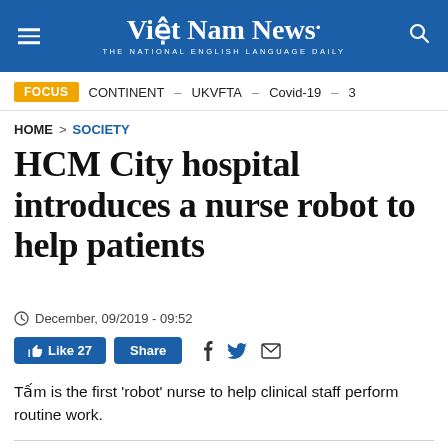Việt Nam News. THE NATIONAL ENGLISH LANGUAGE DAILY
FOCUS  CONTINENT – UKVFTA – Covid-19 – 3
HOME > SOCIETY
HCM City hospital introduces a nurse robot to help patients
December, 09/2019 - 09:52
Like 27  Share
Tấm is the first 'robot' nurse to help clinical staff perform routine work.